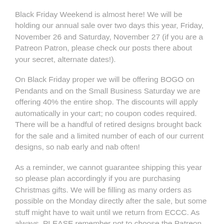Black Friday Weekend is almost here! We will be holding our annual sale over two days this year, Friday, November 26 and Saturday, November 27 (if you are a Patreon Patron, please check our posts there about your secret, alternate dates!).
On Black Friday proper we will be offering BOGO on Pendants and on the Small Business Saturday we are offering 40% the entire shop. The discounts will apply automatically in your cart; no coupon codes required. There will be a handful of retired designs brought back for the sale and a limited number of each of our current designs, so nab early and nab often!
As a reminder, we cannot guarantee shipping this year so please plan accordingly if you are purchasing Christmas gifts. We will be filling as many orders as possible on the Monday directly after the sale, but some stuff might have to wait until we return from ECCC. As always, PLEASE remember not to choose the Patreon Patron shipping in order to save on Patr...